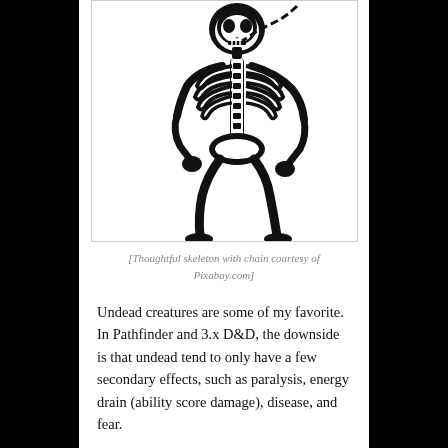[Figure (illustration): Black and white illustration of a skeleton in a thoughtful pose holding a chain]
[Thoughtful skeleton with chain courtesy of Pixabay.com]
Undead creatures are some of my favorite. In Pathfinder and 3.x D&D, the downside is that undead tend to only have a few secondary effects, such as paralysis, energy drain (ability score damage), disease, and fear.